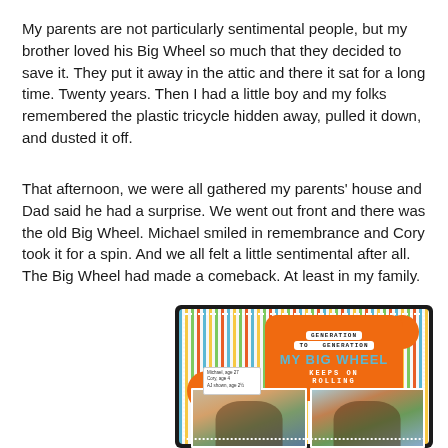My parents are not particularly sentimental people, but my brother loved his Big Wheel so much that they decided to save it.  They put it away in the attic and there it sat for a long time. Twenty years.  Then I had a little boy and my folks remembered the plastic tricycle hidden away, pulled it down, and dusted it off.
That afternoon, we were all gathered my parents' house and Dad said he had a surprise. We went out front and there was the old Big Wheel. Michael smiled in remembrance and Cory took it for a spin.  And we all felt a little sentimental after all.  The Big Wheel had made a comeback.  At least in my family.
[Figure (photo): A scrapbook page with orange and striped blue/yellow/green background. Text reads 'GENERATION TO GENERATION MY BIG WHEEL KEEPS ON ROLLING' with two photos of children riding a Big Wheel tricycle.]